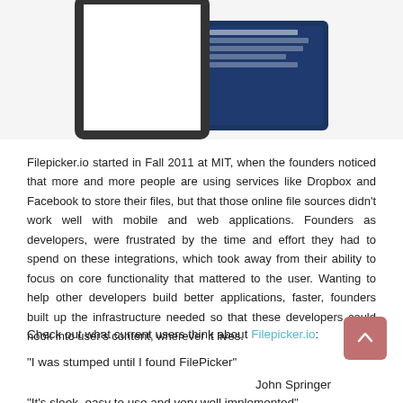[Figure (screenshot): Two device mockups — a white-bordered tablet on the left and a dark blue tablet/screen on the right, showing app screenshots]
Filepicker.io started in Fall 2011 at MIT, when the founders noticed that more and more people are using services like Dropbox and Facebook to store their files, but that those online file sources didn't work well with mobile and web applications. Founders as developers, were frustrated by the time and effort they had to spend on these integrations, which took away from their ability to focus on core functionality that mattered to the user. Wanting to help other developers build better applications, faster, founders built up the infrastructure needed so that these developers could hook into user's content, wherever it lives.
Check out what current users think about Filepicker.io:
“I was stumped until I found FilePicker”
John Springer
“It’s sleek, easy to use and very well implemented”